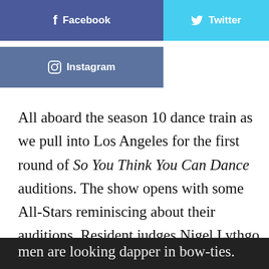[Figure (other): Facebook social share button (dark blue with f icon and 'Facebook' text)]
[Figure (other): Twitter social share button (light blue with bird icon and 'Twitter' text)]
[Figure (other): Instagram social share button (muted blue with circle icon and 'Instagram' text)]
All aboard the season 10 dance train as we pull into Los Angeles for the first round of So You Think You Can Dance auditions. The show opens with some All-Stars reminiscing about their auditions. Resident judges Nigel Lythgo and Mary Murphy are joined by guest judge Jesse Tyler Ferguson (Modern Family). Both men are looking dapper in bow-ties.